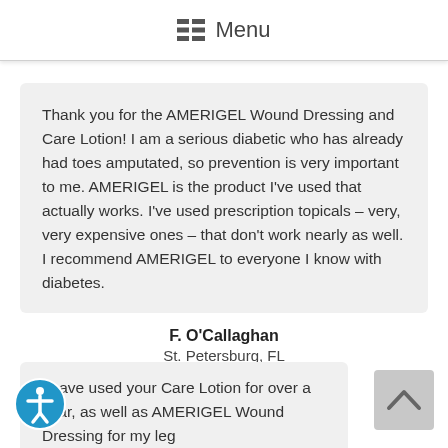Menu
Thank you for the AMERIGEL Wound Dressing and Care Lotion! I am a serious diabetic who has already had toes amputated, so prevention is very important to me. AMERIGEL is the product I've used that actually works. I've used prescription topicals – very, very expensive ones – that don't work nearly as well. I recommend AMERIGEL to everyone I know with diabetes.
F. O'Callaghan
St. Petersburg, FL
I have used your Care Lotion for over a year, as well as AMERIGEL Wound Dressing for my leg